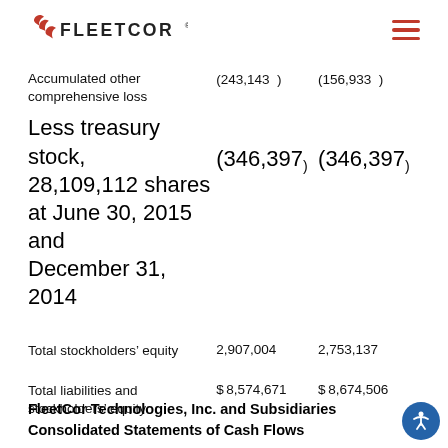FLEETCOR
|  | Col1 | Col2 |
| --- | --- | --- |
| Accumulated other comprehensive loss | (243,143) | (156,933) |
| Less treasury stock, 28,109,112 shares at June 30, 2015 and December 31, 2014 | (346,397) | (346,397) |
| Total stockholders' equity | 2,907,004 | 2,753,137 |
| Total liabilities and stockholders' equity | $8,574,671 | $8,674,506 |
FleetCor Technologies, Inc. and Subsidiaries Consolidated Statements of Cash Flows